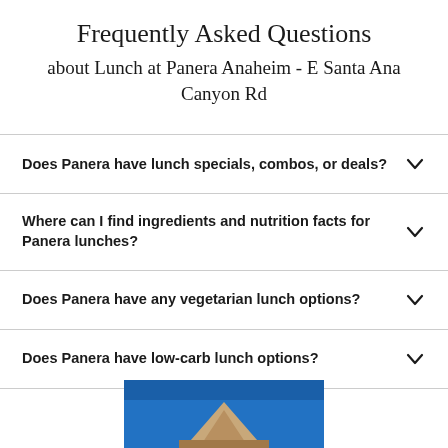Frequently Asked Questions
about Lunch at Panera Anaheim - E Santa Ana Canyon Rd
Does Panera have lunch specials, combos, or deals?
Where can I find ingredients and nutrition facts for Panera lunches?
Does Panera have any vegetarian lunch options?
Does Panera have low-carb lunch options?
[Figure (photo): Partial photo of a Panera bread location or food item with blue background visible at bottom of page]